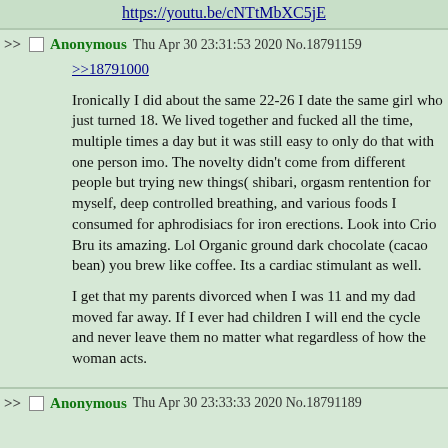https://youtu.be/cNTtMbXC5jE
>> Anonymous Thu Apr 30 23:31:53 2020 No.18791159
>>18791000
Ironically I did about the same 22-26 I date the same girl who just turned 18. We lived together and fucked all the time, multiple times a day but it was still easy to only do that with one person imo. The novelty didn't come from different people but trying new things( shibari, orgasm rentention for myself, deep controlled breathing, and various foods I consumed for aphrodisiacs for iron erections. Look into Crio Bru its amazing. Lol Organic ground dark chocolate (cacao bean) you brew like coffee. Its a cardiac stimulant as well.

I get that my parents divorced when I was 11 and my dad moved far away. If I ever had children I will end the cycle and never leave them no matter what regardless of how the woman acts.
>> Anonymous Thu Apr 30 23:33:33 2020 No.18791189